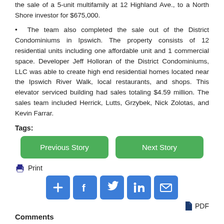the sale of a 5-unit multifamily at 12 Highland Ave., to a North Shore investor for $675,000.
• The team also completed the sale out of the District Condominiums in Ipswich. The property consists of 12 residential units including one affordable unit and 1 commercial space. Developer Jeff Holloran of the District Condominiums, LLC was able to create high end residential homes located near the Ipswich River Walk, local restaurants, and shops. This elevator serviced building had sales totaling $4.59 million. The sales team included Herrick, Lutts, Grzybek, Nick Zolotas, and Kevin Farrar.
Tags:
[Figure (other): Two navigation buttons: 'Previous Story' and 'Next Story' in green rounded rectangles]
[Figure (other): Print icon with 'Print' label, social media share buttons (add, facebook, twitter, linkedin, email), and PDF download link]
Comments